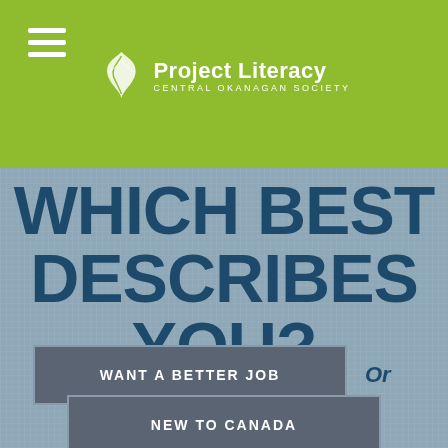[Figure (logo): Project Literacy Central Okanagan Society logo with leaf/bird icon and navigation hamburger menu on green background]
WHICH BEST DESCRIBES YOU?
WANT A BETTER JOB
Or
NEW TO CANADA